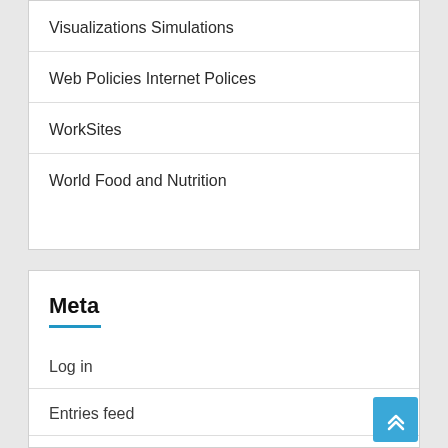Visualizations Simulations
Web Policies Internet Polices
WorkSites
World Food and Nutrition
Meta
Log in
Entries feed
Comments feed